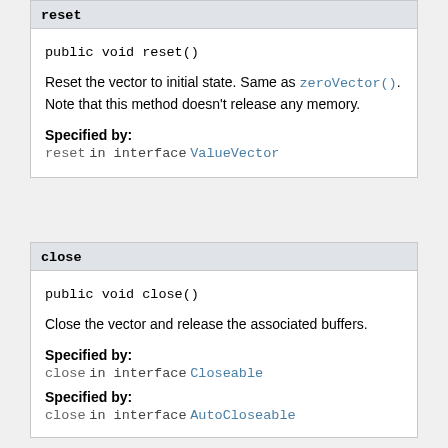reset
public void reset()
Reset the vector to initial state. Same as zeroVector(). Note that this method doesn't release any memory.
Specified by:
reset in interface ValueVector
close
public void close()
Close the vector and release the associated buffers.
Specified by:
close in interface Closeable
Specified by:
close in interface AutoCloseable